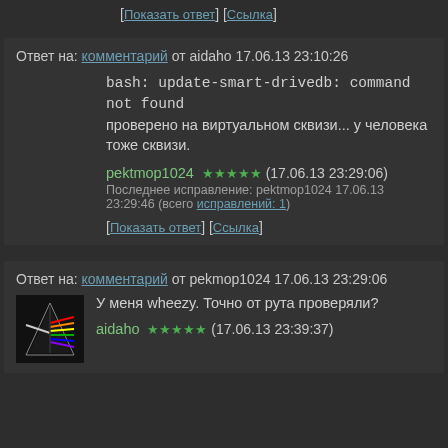[Показать ответ] [Ссылка]
Ответ на: комментарий от aidaho 17.06.13 23:10:26
bash: update-smart-drivedb: command not found
проверено на виртуальном сквизи... у человека тоже сквизи.
pektmop1024 ★★★★★ (17.06.13 23:29:06)
Последнее исправление: pektmop1024 17.06.13 23:29:46 (всего исправлений: 1)
[Показать ответ] [Ссылка]
Ответ на: комментарий от pekmop1024 17.06.13 23:29:06
У меня wheezy. Точно от рута проверяли?
aidaho ★★★★★ (17.06.13 23:39:37)